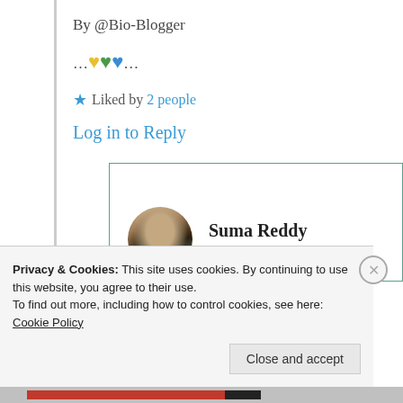By @Bio-Blogger
… 💛💚💙 …
★ Liked by 2 people
Log in to Reply
Suma Reddy
10th Jun 2021 at 6:56 am
Privacy & Cookies: This site uses cookies. By continuing to use this website, you agree to their use.
To find out more, including how to control cookies, see here: Cookie Policy
Close and accept